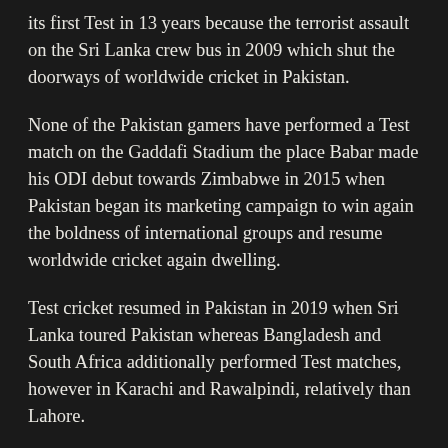its first Test in 13 years because the terrorist assault on the Sri Lanka crew bus in 2009 which shut the doorways of worldwide cricket in Pakistan.
None of the Pakistan gamers have performed a Test match on the Gaddafi Stadium the place Babar made his ODI debut towards Zimbabwe in 2015 when Pakistan began its marketing campaign to win again the boldness of international groups and resume worldwide cricket again dwelling.
Test cricket resumed in Pakistan in 2019 when Sri Lanka toured Pakistan whereas Bangladesh and South Africa additionally performed Test matches, however in Karachi and Rawalpindi, relatively than Lahore.
“You have a different feeling when you play on your home